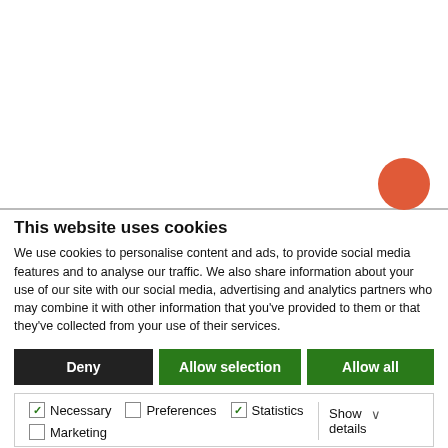[Figure (other): Website content partially visible above cookie banner, with an orange-red circle button in the lower right of the top area]
This website uses cookies
We use cookies to personalise content and ads, to provide social media features and to analyse our traffic. We also share information about your use of our site with our social media, advertising and analytics partners who may combine it with other information that you've provided to them or that they've collected from your use of their services.
Deny
Allow selection
Allow all
Necessary  Preferences  Statistics  Marketing  Show details